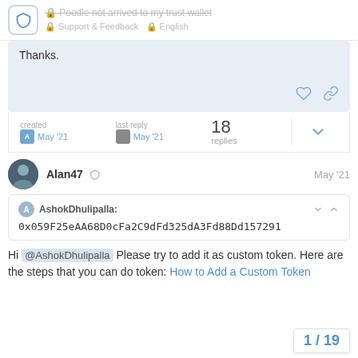Poodle not arrived to my trust wallet — Support & Feedback — English
Thanks.
created May '21  last reply May '21  18 replies
Alan47  May '21
AshokDhulipalla: 0x059F25eAA68D0cFa2C9dFd325dA3Fd88Dd157291
Hi @AshokDhulipalla Please try to add it as custom token. Here are the steps that you can do token: How to Add a Custom Token
1 / 19